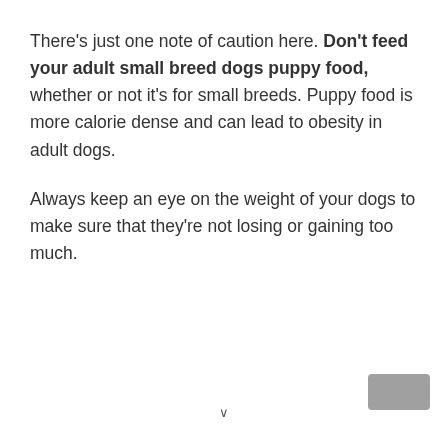There's just one note of caution here. Don't feed your adult small breed dogs puppy food, whether or not it's for small breeds. Puppy food is more calorie dense and can lead to obesity in adult dogs.
Always keep an eye on the weight of your dogs to make sure that they're not losing or gaining too much.